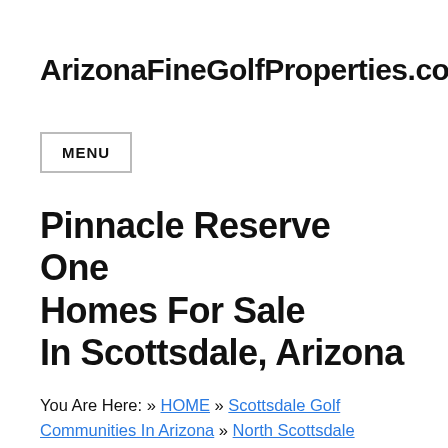ArizonaFineGolfProperties.com
MENU
Pinnacle Reserve One Homes For Sale In Scottsdale, Arizona
You Are Here: » HOME » Scottsdale Golf Communities In Arizona » North Scottsdale Communities West Of Pima Road (I Thru P) » Pinnacle Reserve One Homes For Sale In